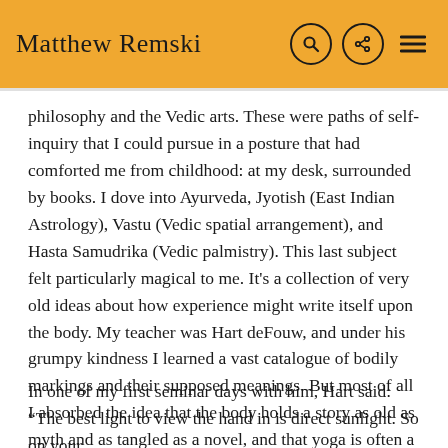Matthew Remski
philosophy and the Vedic arts. These were paths of self-inquiry that I could pursue in a posture that had comforted me from childhood: at my desk, surrounded by books. I dove into Ayurveda, Jyotish (East Indian Astrology), Vastu (Vedic spatial arrangement), and Hasta Samudrika (Vedic palmistry). This last subject felt particularly magical to me. It's a collection of very old ideas about how experience might write itself upon the body. My teacher was Hart deFouw, and under his grumpy kindness I learned a vast catalogue of bodily markings and their supposed meanings. But most of all I absorbed the idea that the body holds a story as old as myth and as tangled as a novel, and that yoga is often a process of reading.
In one of my first seminar days with him, Hart said: “The best light to view the hand in is direct sunlight. So on your